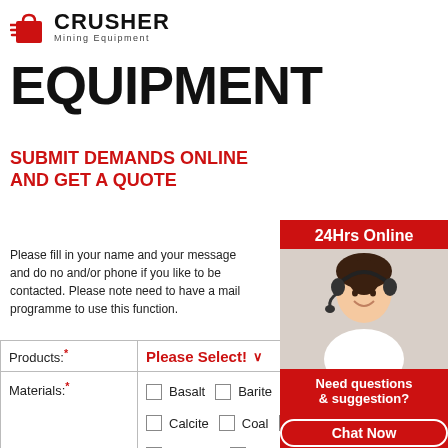[Figure (logo): Crusher Mining Equipment logo with red shopping bag icon and bold CRUSHER text]
EQUIPMENT
SUBMIT DEMANDS ONLINE AND GET A QUOTE
Please fill in your name and your message and do not forget mail and/or phone if you like to be contacted. Please note that you need to have a mail programme to use this function.
| Products:* | Please Select! |
| --- | --- |
| Materials:* | Basalt  Barite  Bento... Calcite  Coal  Copp... Dolomite  Feldspar ... Gravel  Granite  Qu... Pebble  Slag  Limest... Other: [input] |
[Figure (photo): Customer service representative with headset, 24Hrs Online banner, Need questions & suggestion, Chat Now button, Enquiry section, limingjlmofen@sina.com email]